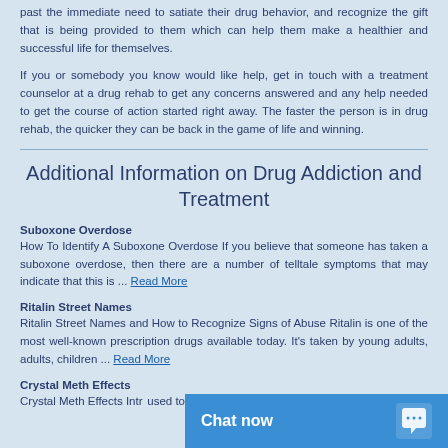past the immediate need to satiate their drug behavior, and recognize the gift that is being provided to them which can help them make a healthier and successful life for themselves.
If you or somebody you know would like help, get in touch with a treatment counselor at a drug rehab to get any concerns answered and any help needed to get the course of action started right away. The faster the person is in drug rehab, the quicker they can be back in the game of life and winning.
Additional Information on Drug Addiction and Treatment
Suboxone Overdose
How To Identify A Suboxone Overdose If you believe that someone has taken a suboxone overdose, then there are a number of telltale symptoms that may indicate that this is ... Read More
Ritalin Street Names
Ritalin Street Names and How to Recognize Signs of Abuse Ritalin is one of the most well-known prescription drugs available today. It's taken by young adults, adults, children ... Read More
Crystal Meth Effects
Crystal Meth Effects Intro used ... to refer to ...